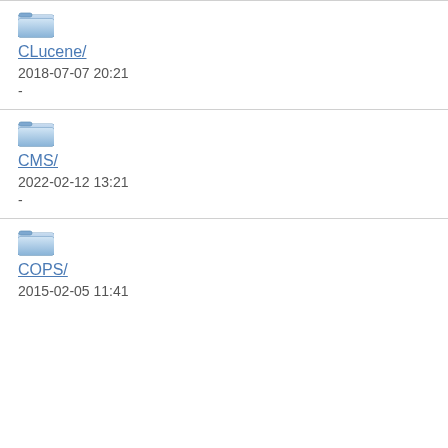CLucene/ 2018-07-07 20:21 -
CMS/ 2022-02-12 13:21 -
COPS/ 2015-02-05 11:41